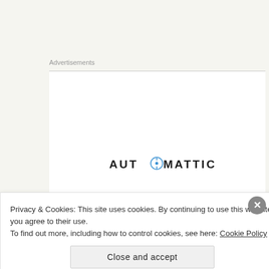Advertisements
[Figure (logo): Automattic logo with compass icon inside the letter O, followed by the tagline 'Build a better web and a better world.' and a blue CTA button, with a partial photo of a smiling person on the right side]
Privacy & Cookies: This site uses cookies. By continuing to use this website, you agree to their use.
To find out more, including how to control cookies, see here: Cookie Policy
Close and accept